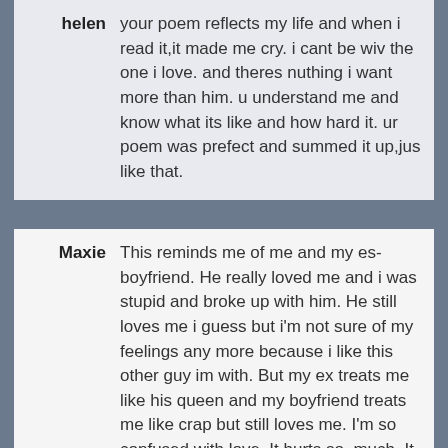helen: your poem reflects my life and when i read it,it made me cry. i cant be wiv the one i love. and theres nuthing i want more than him. u understand me and know what its like and how hard it. ur poem was prefect and summed it up,jus like that.
Maxie: This reminds me of me and my es-boyfriend. He really loved me and i was stupid and broke up with him. He still loves me i guess but i'm not sure of my feelings any more because i like this other guy im with. But my ex treats me like his queen and my boyfriend treats me like crap but still loves me. I'm so confused with love. It hurts so. much. It makes us confuse on to who to love.